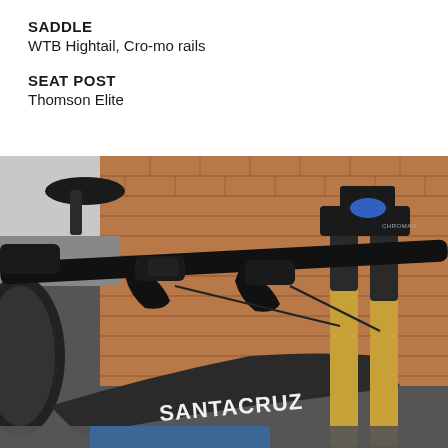SADDLE
WTB Hightail, Cro-mo rails
SEAT POST
Thomson Elite
[Figure (photo): Close-up photo of a Santa Cruz mountain bike handlebar area, showing brake levers, stem, handlebars, fork tubes (gold colored), with a brick wall in the background and the Santa Cruz logo visible on the frame.]